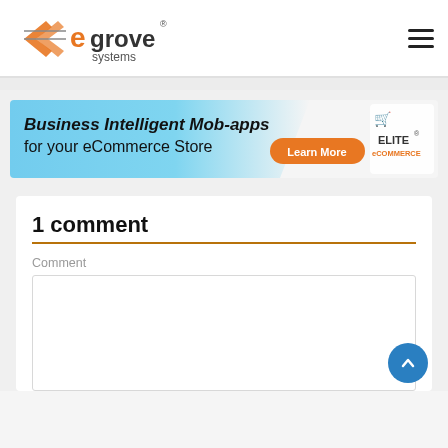[Figure (logo): eGrove Systems logo — orange/gray stylized text logo with decorative marks]
[Figure (infographic): Banner ad: 'Business Intelligent Mob-apps for your eCommerce Store' with a Learn More button and Elite eCommerce badge on the right]
1 comment
Comment
[Figure (screenshot): Empty comment text input box]